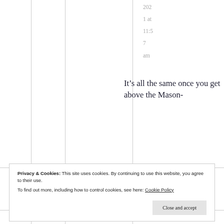2021 at 11:57 am
It’s all the same once you get above the Mason-
Privacy & Cookies: This site uses cookies. By continuing to use this website, you agree to their use.
To find out more, including how to control cookies, see here: Cookie Policy
Close and accept